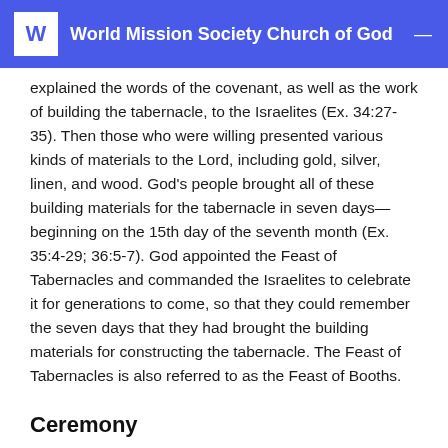World Mission Society Church of God
explained the words of the covenant, as well as the work of building the tabernacle, to the Israelites (Ex. 34:27-35). Then those who were willing presented various kinds of materials to the Lord, including gold, silver, linen, and wood. God's people brought all of these building materials for the tabernacle in seven days—beginning on the 15th day of the seventh month (Ex. 35:4-29; 36:5-7). God appointed the Feast of Tabernacles and commanded the Israelites to celebrate it for generations to come, so that they could remember the seven days that they had brought the building materials for constructing the tabernacle. The Feast of Tabernacles is also referred to as the Feast of Booths.
Ceremony
The Israelites kept the Feast of Tabernacles by making tents. They used palm fronds and myrtle trees, or willows, to build booths, which were then spread onto the courts of the house of God and